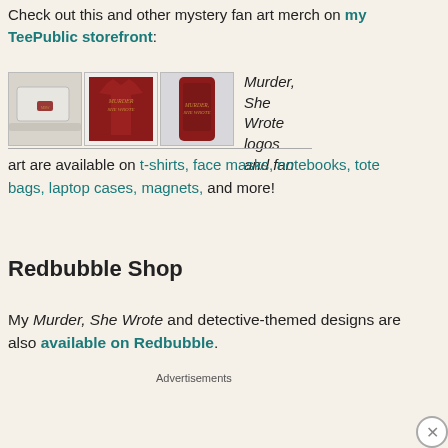Check out this and other mystery fan art merch on my TeePublic storefront:
[Figure (photo): Three product images showing Murder She Wrote fan art merchandise: a laptop sticker, a dark red t-shirt, and a dark red phone case. Next to the images is italic text reading 'Murder, She Wrote logos and fan art are available on t-shirts, face masks, notebooks, tote bags, laptop cases, magnets, and more!']
Murder, She Wrote logos and fan art are available on t-shirts, face masks, notebooks, tote bags, laptop cases, magnets, and more!
Redbubble Shop
My Murder, She Wrote and detective-themed designs are also available on Redbubble.
Advertisements
[Figure (photo): Advertisement banner for Macy's: 'KISS BORING LIPS GOODBYE' with a woman's face, SHOP NOW button, and Macy's star logo]